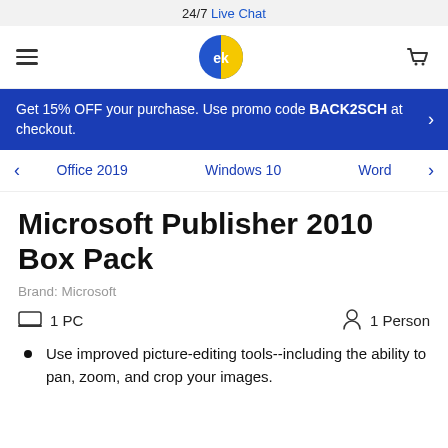24/7 Live Chat
[Figure (logo): ek brand logo — blue and yellow circular icon with 'ek' text]
Get 15% OFF your purchase. Use promo code BACK2SCH at checkout.
Office 2019   Windows 10   Word
Microsoft Publisher 2010 Box Pack
Brand: Microsoft
1 PC   1 Person
Use improved picture-editing tools--including the ability to pan, zoom, and crop your images.